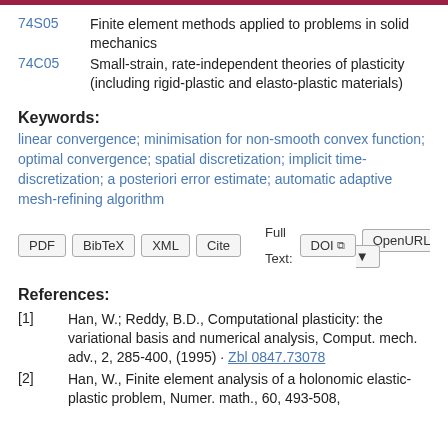74S05 Finite element methods applied to problems in solid mechanics
74C05 Small-strain, rate-independent theories of plasticity (including rigid-plastic and elasto-plastic materials)
Keywords:
linear convergence; minimisation for non-smooth convex function; optimal convergence; spatial discretization; implicit time-discretization; a posteriori error estimate; automatic adaptive mesh-refining algorithm
PDF BibTeX XML Cite Full Text: DOI OpenURL
References:
[1] Han, W.; Reddy, B.D., Computational plasticity: the variational basis and numerical analysis, Comput. mech. adv., 2, 285-400, (1995) · Zbl 0847.73078
[2] Han, W., Finite element analysis of a holonomic elastic-plastic problem, Numer. math., 60, 493-508,